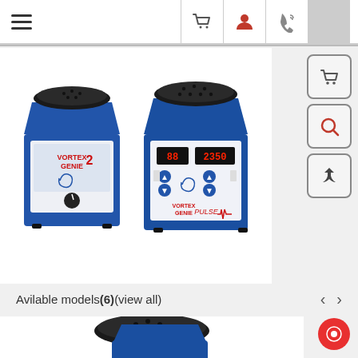Navigation bar with hamburger menu, cart icon, user icon, phone icon, and settings icon
[Figure (photo): Two blue Vortex Genie laboratory vortex mixers side by side. Left unit is Vortex Genie 2 with analog dial knob. Right unit is Vortex Genie Pulse with digital display showing red LED readout and control buttons. Both have black circular foam pad tops.]
[Figure (screenshot): Three side action buttons: cart icon, magnifying glass icon, and share/upload arrow icon, each in rounded square border.]
Avilable models (6) (view all)
[Figure (photo): Partial view of a single blue Vortex Genie laboratory vortex mixer with black circular foam pad on top, cropped at bottom of page.]